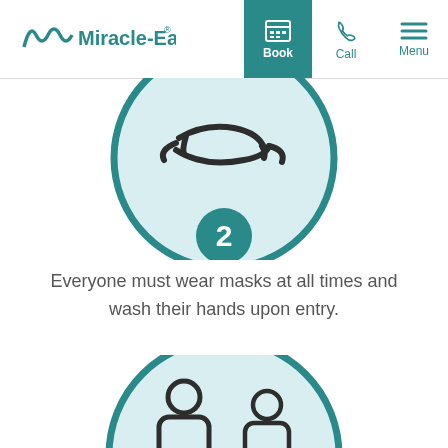[Figure (logo): Miracle-Ear logo in teal with stylized M wave design and text]
[Figure (illustration): Navigation header with Book (active, teal background), Call (phone icon), and Menu (hamburger icon) buttons]
[Figure (illustration): Step 2 icon: circular teal-bordered light blue circle showing a face mask icon, with teal number 2 badge at bottom]
Everyone must wear masks at all times and wash their hands upon entry.
[Figure (illustration): Step 3 icon: circular teal-bordered light blue circle showing two person silhouettes with social distancing arrow]